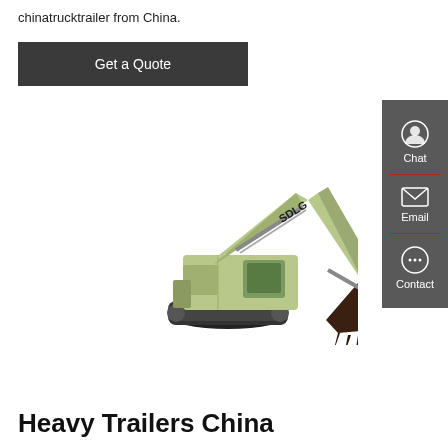chinatrucktrailer from China.
Get a Quote
[Figure (photo): SDLG branded yellow-green excavator with large bucket attachment, shown in profile view against white background]
Heavy Trailers China